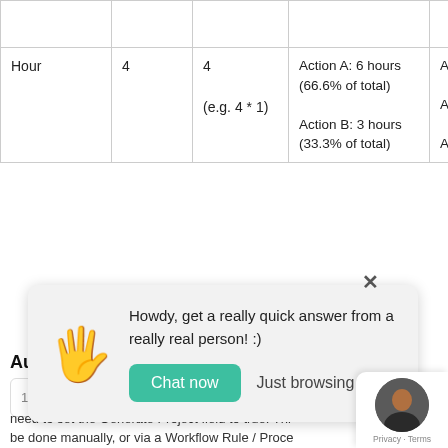| Hour | 4 | 4 | Action A: 6 hours (66.6% of total) Action B: 3 hours (33.3% of total) | Action A: hours Action B: hour Action C: hour |
| --- | --- | --- | --- | --- |
[Figure (screenshot): Chat popup widget with waving hand emoji, text 'Howdy, get a really quick answer from a really real person! :)', and buttons 'Chat now' and 'Just browsing']
Auto-Generation
need to set the Generate Project field to true. This can be done manually, or via a Workflow Rule / Process Builder, and so on — it is done when the...